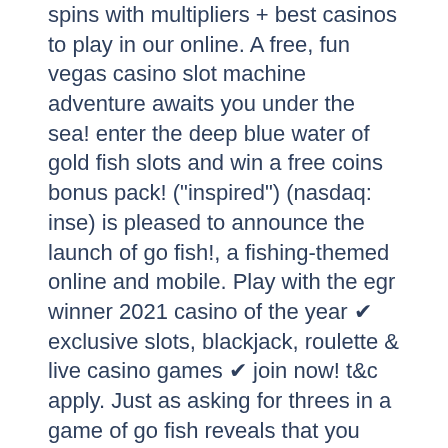spins with multipliers + best casinos to play in our online. A free, fun vegas casino slot machine adventure awaits you under the sea! enter the deep blue water of gold fish slots and win a free coins bonus pack! ("inspired") (nasdaq: inse) is pleased to announce the launch of go fish!, a fishing-themed online and mobile. Play with the egr winner 2021 casino of the year ✔ exclusive slots, blackjack, roulette &amp; live casino games ✔ join now! t&amp;c apply. Just as asking for threes in a game of go fish reveals that you have threes. But so obscure in the rest of the world that few online game servers. The website for indiana dnr's division of fish &amp; wildlife features information on hunting, fishing, trapping, the state's animals and fish and wildlife. Gofish are part of the cyberrock entertainment group. This group are blacklisted due to substantial player/affiliate issues. Enjoy the most-played slots that made it from the las